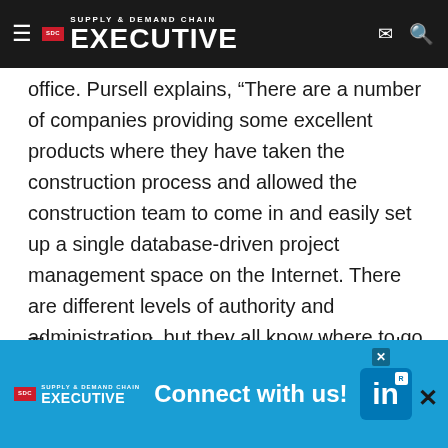SDC Supply & Demand Chain Executive
office. Pursell explains, “There are a number of companies providing some excellent products where they have taken the construction process and allowed the construction team to come in and easily set up a single database-driven project management space on the Internet. There are different levels of authority and administration, but they all know where to go to get the latest information on the project and to keep the project moving.”
The construction world also stands poised to buck the disintermediation trend. Bell believes the future will see the increased… ays will serve as… “We
[Figure (screenshot): Supply & Demand Chain Executive LinkedIn Connect with us advertisement banner overlay]